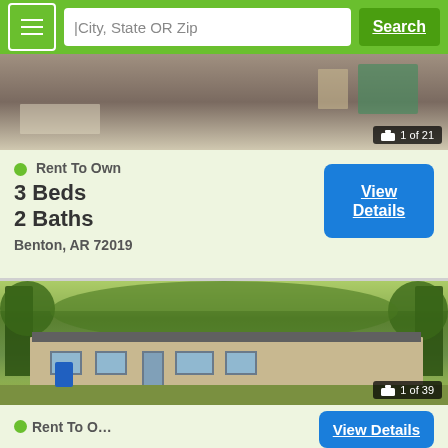City, State OR Zip | Search
[Figure (photo): Interior photo of a room, partially visible, with '1 of 21' image counter badge]
Rent To Own
3 Beds
2 Baths
Benton, AR 72019
View Details
[Figure (photo): Exterior photo of a single-wide manufactured home surrounded by trees, with a blue trash bin in front, '1 of 39' image counter badge]
Rent To O...